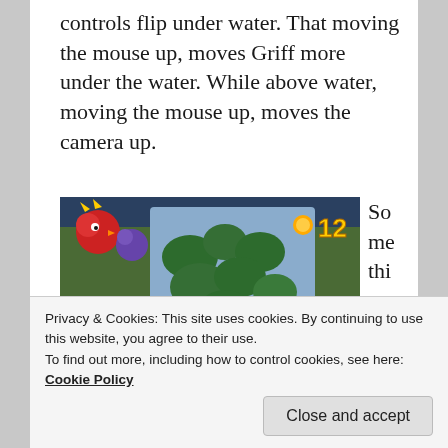controls flip under water. That moving the mouse up, moves Griff more under the water. While above water, moving the mouse up, moves the camera up.
[Figure (screenshot): Game screenshot showing a character (Rayman/Globox style) near a large cube/box covered in vines, on a grassy field. A bird enemy is visible top-left, and a score of 12 is shown top-right.]
Something els
Privacy & Cookies: This site uses cookies. By continuing to use this website, you agree to their use.
To find out more, including how to control cookies, see here: Cookie Policy
Close and accept